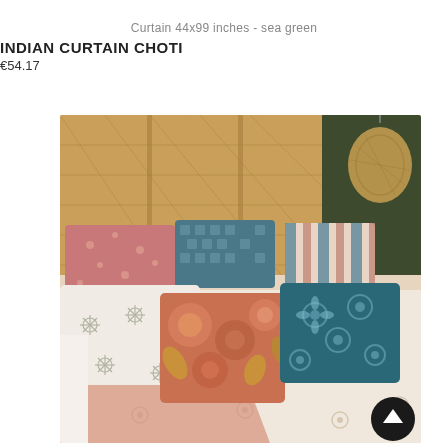Curtain 44x99 inches - sea green
INDIAN CURTAIN CHOTI
€54.17
[Figure (photo): Bedroom scene showing a bed with a woven rattan headboard and a rattan pendant lamp. The bed is dressed with a cream/white patterned bedspread and a pink quilted runner, with multiple decorative cushions in various patterns including pink floral, teal geometric, striped, white patterned, coral floral, and teal block-print. Dark green painted wall visible on the right side.]